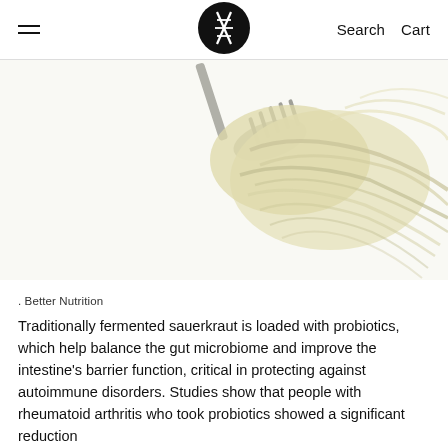≡   [logo]   Search   Cart
[Figure (photo): Fork holding sauerkraut (fermented cabbage) against a white background]
. Better Nutrition
Traditionally fermented sauerkraut is loaded with probiotics, which help balance the gut microbiome and improve the intestine's barrier function, critical in protecting against autoimmune disorders. Studies show that people with rheumatoid arthritis who took probiotics showed a significant reduction